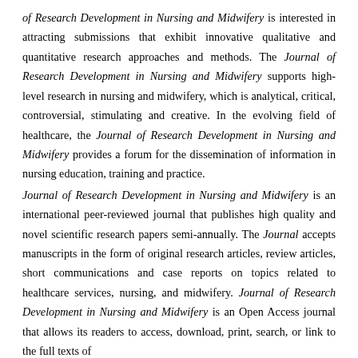of Research Development in Nursing and Midwifery is interested in attracting submissions that exhibit innovative qualitative and quantitative research approaches and methods. The Journal of Research Development in Nursing and Midwifery supports high-level research in nursing and midwifery, which is analytical, critical, controversial, stimulating and creative. In the evolving field of healthcare, the Journal of Research Development in Nursing and Midwifery provides a forum for the dissemination of information in nursing education, training and practice.
Journal of Research Development in Nursing and Midwifery is an international peer-reviewed journal that publishes high quality and novel scientific research papers semi-annually. The Journal accepts manuscripts in the form of original research articles, review articles, short communications and case reports on topics related to healthcare services, nursing, and midwifery. Journal of Research Development in Nursing and Midwifery is an Open Access journal that allows its readers to access, download, print, search, or link to the full texts of